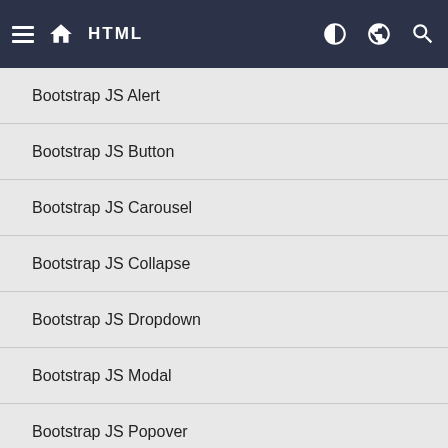HTML
Bootstrap JS Alert
Bootstrap JS Button
Bootstrap JS Carousel
Bootstrap JS Collapse
Bootstrap JS Dropdown
Bootstrap JS Modal
Bootstrap JS Popover
Bootstrap JS Scrollspy
Bootstrap JS Tab
Bootstrap JS Tooltip